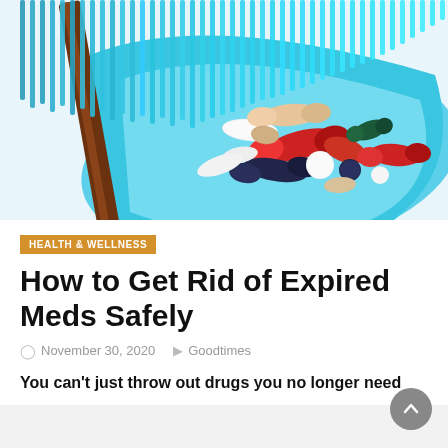[Figure (photo): A blue dustpan and brush with various colorful pills and capsules (red, white, blue, beige) scattered on the dustpan surface]
HEALTH & WELLNESS
How to Get Rid of Expired Meds Safely
November 30, 2020   Goodtimes
You can't just throw out drugs you no longer need